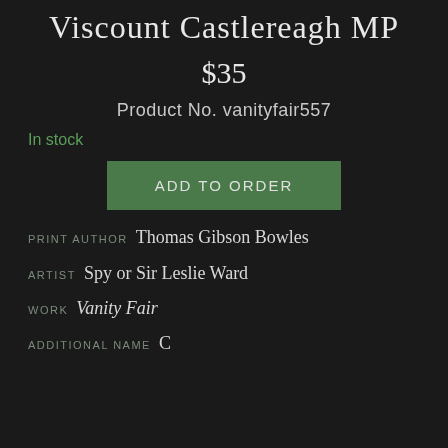Viscount Castlereagh MP
$35
Product No. vanityfair557
In stock
ADD TO ORDER
PRINT AUTHOR Thomas Gibson Bowles
ARTIST Spy or Sir Leslie Ward
WORK Vanity Fair
ADDITIONAL NAME C